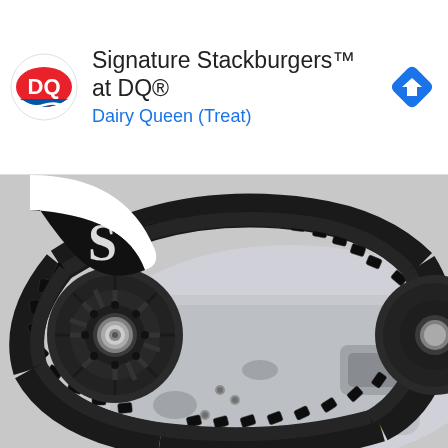[Figure (other): Dairy Queen advertisement banner with DQ logo, text 'Signature Stackburgers™ at DQ® Dairy Queen (Treat)', and a navigation/directions icon. Small play and close controls on left side.]
[Figure (photo): Close-up photograph of a tracked robot or RC tank chassis. Shows a black rubber continuous track (caterpillar tread) with detailed tread pattern, wrapped around a black plastic drive wheel/sprocket with a metallic bearing hub in the center. The silver aluminum chassis plate is visible underneath with mounting screws. Another wheel is partially visible on the right edge. A partial circular logo element is visible in the upper left corner.]